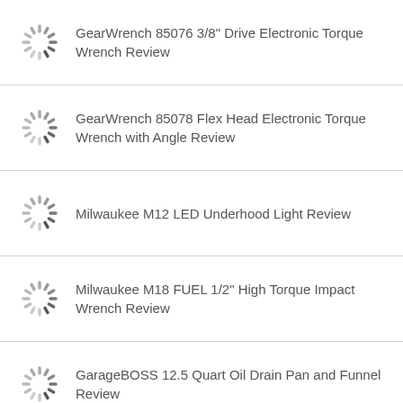GearWrench 85076 3/8" Drive Electronic Torque Wrench Review
GearWrench 85078 Flex Head Electronic Torque Wrench with Angle Review
Milwaukee M12 LED Underhood Light Review
Milwaukee M18 FUEL 1/2" High Torque Impact Wrench Review
GarageBOSS 12.5 Quart Oil Drain Pan and Funnel Review
Capri Tools 31000 10-80 Ft-Lb Torque Wrench